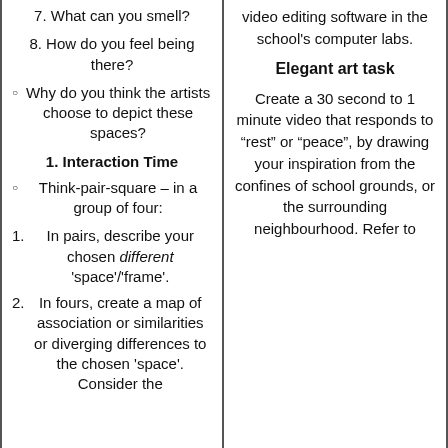7. What can you smell?
8. How do you feel being there?
Why do you think the artists choose to depict these spaces?
1. Interaction Time
Think-pair-square – in a group of four:
1. In pairs, describe your chosen different 'space'/'frame'.
2. In fours, create a map of association or similarities or diverging differences to the chosen 'space'. Consider the
video editing software in the school's computer labs.
Elegant art task
Create a 30 second to 1 minute video that responds to “rest” or “peace”, by drawing your inspiration from the confines of school grounds, or the surrounding neighbourhood. Refer to